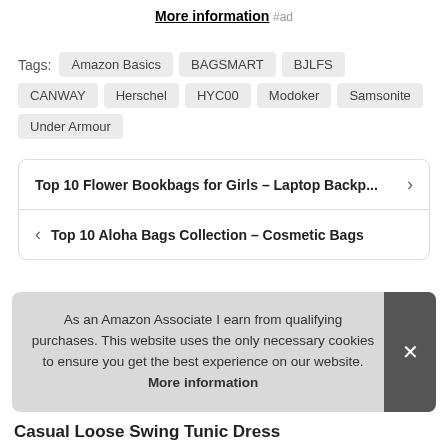More information #ad
Tags: Amazon Basics  BAGSMART  BJLFS  CANWAY  Herschel  HYC00  Modoker  Samsonite  Under Armour
Top 10 Flower Bookbags for Girls – Laptop Backp...
Top 10 Aloha Bags Collection – Cosmetic Bags
As an Amazon Associate I earn from qualifying purchases. This website uses the only necessary cookies to ensure you get the best experience on our website. More information
Casual Loose Swing Tunic Dress